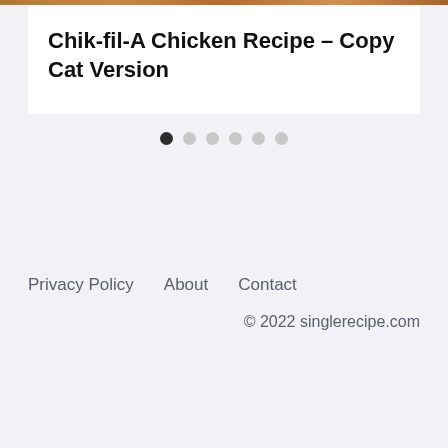[Figure (photo): Partial food/chicken image strip at the top of the page]
Chik-fil-A Chicken Recipe – Copy Cat Version
[Figure (other): Pagination dots: one dark active dot followed by five light inactive dots]
Privacy Policy   About   Contact
© 2022 singlerecipe.com